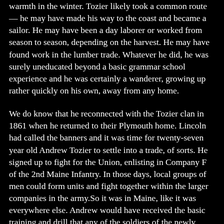warmth in the winter. Tozier likely took a common route — he may have made his way to the coast and became a sailor. He may have been a day laborer or worked from season to season, depending on the harvest. He may have found work in the lumber trade. Whatever he did, he was surely uneducated beyond a basic grammar school experience and he was certainly a wanderer, growing up rather quickly on his own, away from any home.
We do know that he reconnected with the Tozier clan in 1861 when he returned to their Plymouth home. Lincoln had called the banners and it was time for twenty-seven year old Andrew Tozier to settle into a trade, of sorts. He signed up to fight for the Union, enlisting in Company F of the 2nd Maine Infantry. In those days, local groups of men could form units and fight together within the larger companies in the army.So it was in Maine, like it was everywhere else. Andrew would have received the basic training and drill that any of the soldiers of the newly formed Army would have received. In the early days of the war, the number of battles were few and